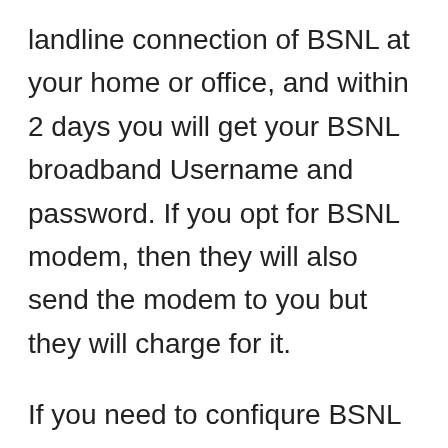landline connection of BSNL at your home or office, and within 2 days you will get your BSNL broadband Username and password. If you opt for BSNL modem, then they will also send the modem to you but they will charge for it.
If you need to confiqure BSNL modem settings by BSNL technician, then for that there is Rs 500 charge. But you can also do it from yourself, check out my post on How to configure or setup BSNL WiFi